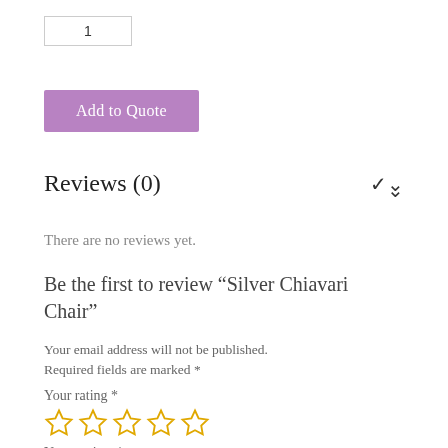1
Add to Quote
Reviews (0)
There are no reviews yet.
Be the first to review “Silver Chiavari Chair”
Your email address will not be published. Required fields are marked *
Your rating *
[Figure (other): Five empty star rating icons in gold/yellow outline]
Your review *